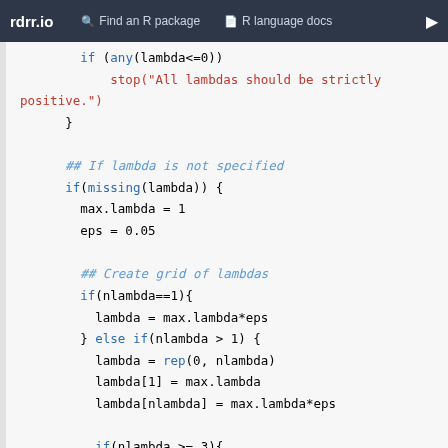rdrr.io   Find an R package   R language docs
if (any(lambda<=0))
    stop("All lambdas should be strictly positive.")
  }

  ## If lambda is not specified
  if(missing(lambda)) {
    max.lambda = 1
    eps = 0.05

    ## Create grid of lambdas
    if(nlambda==1){
      lambda = max.lambda*eps
    } else if(nlambda > 1) {
      lambda = rep(0, nlambda)
      lambda[1] = max.lambda
      lambda[nlambda] = max.lambda*eps

      if(nlambda >= 3){
        for(l in 2:(nlambda-1)){
          ## equispaced lambdas on log scale